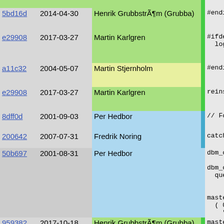| hash | date | author |  | code |
| --- | --- | --- | --- | --- |
| 5bd16d | 2014-04-30 | Henrik GrubbstrÃ¶m (Grubba) |  | #endif |
| e29908 | 2017-03-27 | Martin Karlgren |  | #ifdef LOG
  log_gc_c |
| a11c32 | 2004-05-07 | Martin Stjernholm |  | #endif |
| e29908 | 2017-03-27 | Martin Karlgren |  | reinstal |
| 8dff0d | 2001-09-03 | Per Hedbor |  | // For R |
| 200642 | 2007-07-31 | Fredrik Noring |  | catch(mk |
| 50b697 | 2001-08-31 | Per Hedbor |  | dbm_cach

dbm_cach
  query(



master()
  ( 0, "
    "Com |
| 959382 | 2017-10-18 | Henrik GrubbstrÃ¶m (Grubba) |  | master()
  ( "loc |